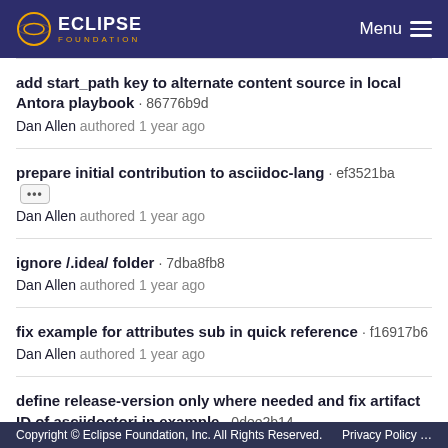ECLIPSE FOUNDATION  Menu
add start_path key to alternate content source in local Antora playbook · 86776b9d
Dan Allen authored 1 year ago
prepare initial contribution to asciidoc-lang · ef3521ba
Dan Allen authored 1 year ago
ignore /.idea/ folder · 7dba8fb8
Dan Allen authored 1 year ago
fix example for attributes sub in quick reference · f16917b6
Dan Allen authored 1 year ago
define release-version only where needed and fix artifact ID of asciidoctorj in example · 0dee2b14
Dan Allen authored 1 year ago
resolves #55 move docs content into docs folder (PR #56) ·
Copyright © Eclipse Foundation, Inc. All Rights Reserved.    Privacy Policy …